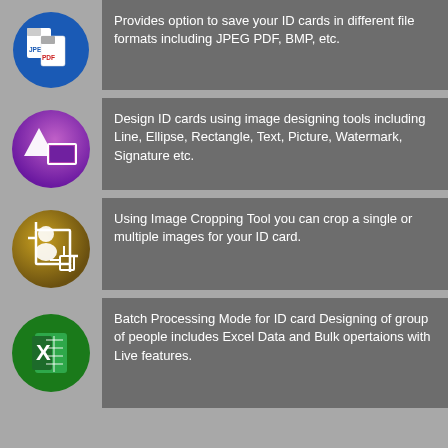[Figure (illustration): Blue circle icon with JPEG and PDF file document graphics]
Provides option to save your ID cards in different file formats including JPEG PDF, BMP, etc.
[Figure (illustration): Purple circle icon with geometric shapes (triangle, rectangle) design tools]
Design ID cards using image designing tools including Line, Ellipse, Rectangle, Text, Picture, Watermark, Signature etc.
[Figure (illustration): Gold/brown circle icon with image cropping tool graphic]
Using Image Cropping Tool you can crop a single or multiple images for your ID card.
[Figure (illustration): Green circle icon with Excel X spreadsheet logo]
Batch Processing Mode for ID card Designing of group of people includes Excel Data and Bulk opertaions with Live features.